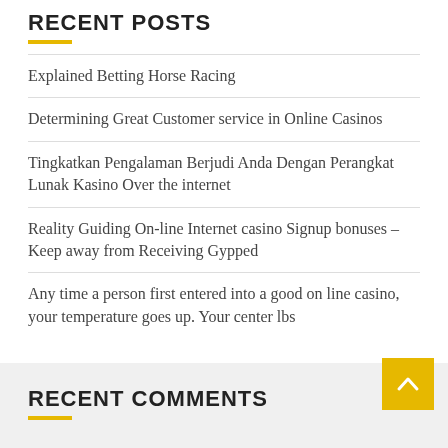RECENT POSTS
Explained Betting Horse Racing
Determining Great Customer service in Online Casinos
Tingkatkan Pengalaman Berjudi Anda Dengan Perangkat Lunak Kasino Over the internet
Reality Guiding On-line Internet casino Signup bonuses – Keep away from Receiving Gypped
Any time a person first entered into a good on line casino, your temperature goes up. Your center lbs
RECENT COMMENTS